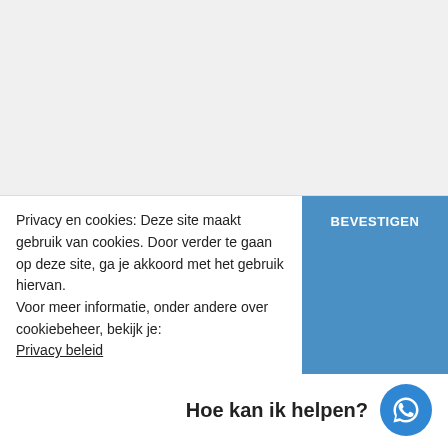Delen via:
WhatsApp  Telegram  Twitter  Facebook
Privacy en cookies: Deze site maakt gebruik van cookies. Door verder te gaan op deze site, ga je akkoord met het gebruik hiervan.
Voor meer informatie, onder andere over cookiebeheer, bekijk je:
Privacy beleid
BEVESTIGEN
Hoe kan ik helpen?